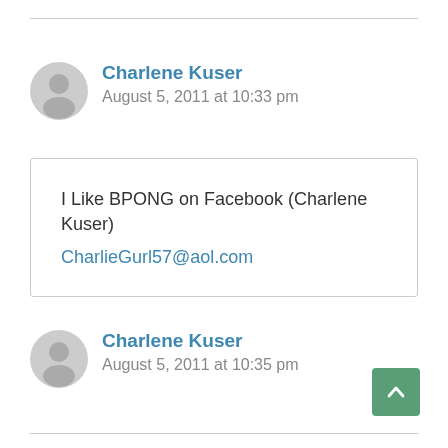Charlene Kuser
August 5, 2011 at 10:33 pm
I Like BPONG on Facebook (Charlene Kuser)
CharlieGurl57@aol.com
Charlene Kuser
August 5, 2011 at 10:35 pm